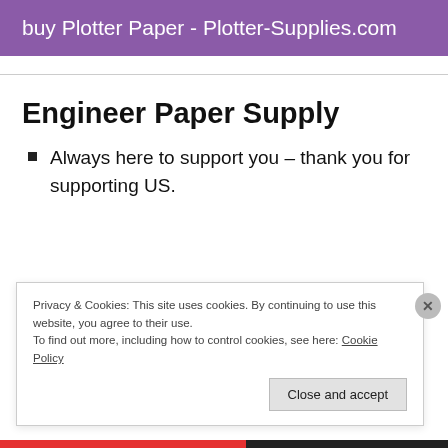buy Plotter Paper - Plotter-Supplies.com
Engineer Paper Supply
Always here to support you – thank you for supporting US.
Privacy & Cookies: This site uses cookies. By continuing to use this website, you agree to their use.
To find out more, including how to control cookies, see here: Cookie Policy
Close and accept